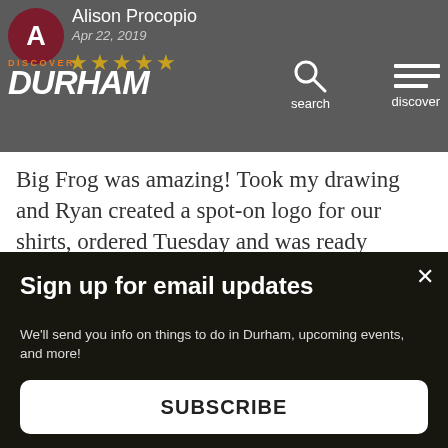[Figure (screenshot): Screenshot of Discover Durham website showing a user review by Alison Procopio dated Apr 22, 2019 with 5 stars, a navigation bar with search and discover menu, a cookie consent notice, and a sign-up for email updates modal at the bottom.]
Alison Procopio
Apr 22, 2019
★★★★★
Big Frog was amazing! Took my drawing and Ryan created a spot-on logo for our shirts, ordered Tuesday and was ready Wednesday. Super reasonably priced. Love shopping local and will use them for all cu[stomers]... wo[uld recommend]
This website uses cookies to ensure you get the best experience on our website.
Sign up for email updates
We'll send you info on things to do in Durham, upcoming events, and more!
SUBSCRIBE